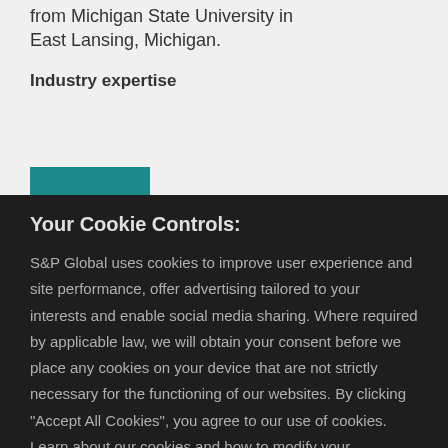from Michigan State University in East Lansing, Michigan.
Industry expertise
Your Cookie Controls:
S&P Global uses cookies to improve user experience and site performance, offer advertising tailored to your interests and enable social media sharing. Where required by applicable law, we will obtain your consent before we place any cookies on your device that are not strictly necessary for the functioning of our websites. By clicking "Accept All Cookies", you agree to our use of cookies. Learn about our cookies and how to modify your